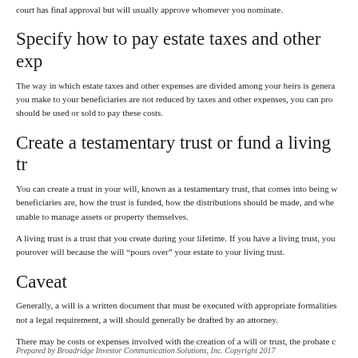court has final approval but will usually approve whomever you nominate.
Specify how to pay estate taxes and other exp
The way in which estate taxes and other expenses are divided among your heirs is genera you make to your beneficiaries are not reduced by taxes and other expenses, you can pro should be used or sold to pay these costs.
Create a testamentary trust or fund a living tr
You can create a trust in your will, known as a testamentary trust, that comes into being w beneficiaries are, how the trust is funded, how the distributions should be made, and whe unable to manage assets or property themselves.
A living trust is a trust that you create during your lifetime. If you have a living trust, you pourover will because the will “pours over” your estate to your living trust.
Caveat
Generally, a will is a written document that must be executed with appropriate formalities not a legal requirement, a will should generally be drafted by an attorney.
There may be costs or expenses involved with the creation of a will or trust, the probate c
Prepared by Broadridge Investor Communication Solutions, Inc. Copyright 2017